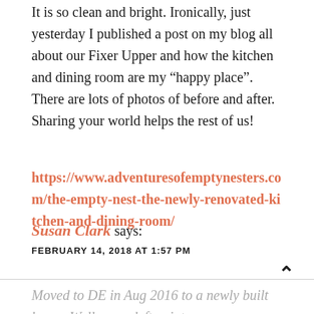It is so clean and bright. Ironically, just yesterday I published a post on my blog all about our Fixer Upper and how the kitchen and dining room are my “happy place”. There are lots of photos of before and after. Sharing your world helps the rest of us!
https://www.adventuresofemptynesters.com/the-empty-nest-the-newly-renovated-kitchen-and-dining-room/
Susan Clark says:
FEBRUARY 14, 2018 AT 1:57 PM
Moved to DE in Aug 2016 to a newly built hom... Walls were left painters white...waiting the year out for settling cracks to be repaired – then we were going